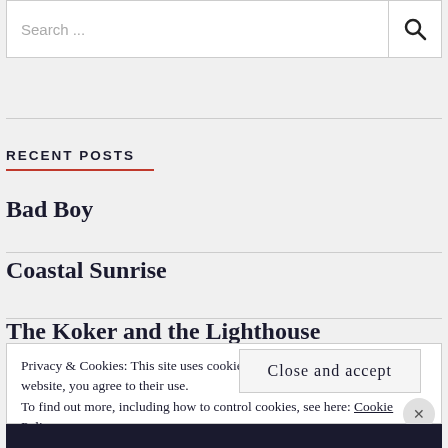Search ...
RECENT POSTS
Bad Boy
Coastal Sunrise
The Koker and the Lighthouse
Privacy & Cookies: This site uses cookies. By continuing to use this website, you agree to their use. To find out more, including how to control cookies, see here: Cookie Policy
Close and accept